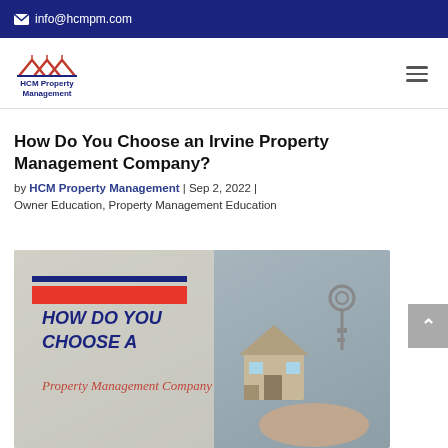info@hcmpm.com
[Figure (logo): HCM Property Management logo with house/roof icon in red and blue, company name in blue text]
How Do You Choose an Irvine Property Management Company?
by HCM Property Management | Sep 2, 2022 |
Owner Education, Property Management Education
[Figure (photo): Featured blog image showing hands holding a house model and keys, with text overlay 'HOW DO YOU CHOOSE A Property Management Company']